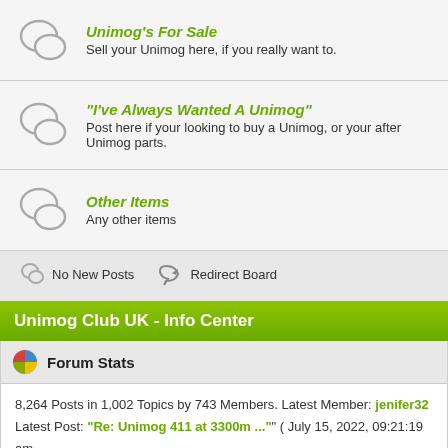Unimog's For Sale - Sell your Unimog here, if you really want to.
"I've Always Wanted A Unimog" - Post here if your looking to buy a Unimog, or your after Unimog parts.
Other Items - Any other items
No New Posts   Redirect Board
Unimog Club UK - Info Center
Forum Stats
8,264 Posts in 1,002 Topics by 743 Members. Latest Member: jenifer32 Latest Post: "Re: Unimog 411 at 3300m ..." ( July 15, 2022, 09:21:19 am View the most recent posts on the forum. [More Stats]
Users Online
2 Guests, 0 Users